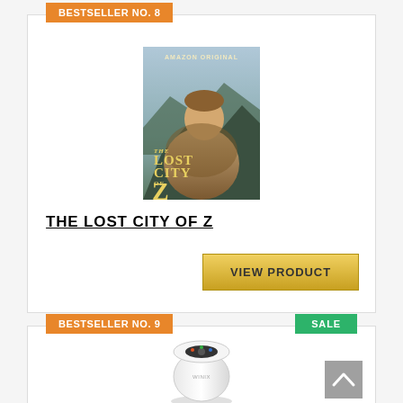BESTSELLER NO. 8
[Figure (photo): Movie poster for 'The Lost City of Z' – Amazon Original, showing a man in jungle attire with mountains in the background. Gold title text reads THE LOST CITY OF Z.]
THE LOST CITY OF Z
VIEW PRODUCT
BESTSELLER NO. 9
SALE
[Figure (photo): Bottom portion of a white cylindrical air purifier device]